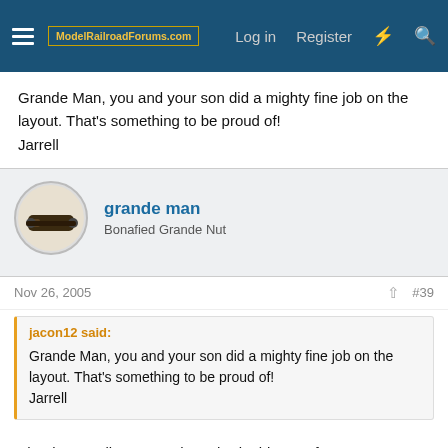ModelRailroadForums.com — Log in  Register
Grande Man, you and your son did a mighty fine job on the layout. That's something to be proud of!
Jarrell
grande man
Bonafied Grande Nut
Nov 26, 2005  #39
jacon12 said:
Grande Man, you and your son did a mighty fine job on the layout. That's something to be proud of!
Jarrell
Thanks Jerrell. We sure have had a blast so far.